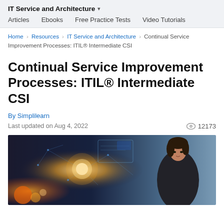IT Service and Architecture ▾
Articles   Ebooks   Free Practice Tests   Video Tutorials
Home > Resources > IT Service and Architecture > Continual Service Improvement Processes: ITIL® Intermediate CSI
Continual Service Improvement Processes: ITIL® Intermediate CSI
By Simplilearn
Last updated on Aug 4, 2022   👁 12173
[Figure (photo): A woman touching a glowing digital interface with futuristic network visualization in the background]